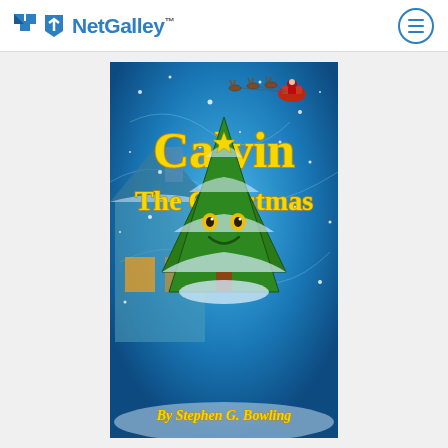NetGalley
[Figure (illustration): Book cover for 'Calvin The Christmas Tree' by Stephen G. Bowling. Features a smiling animated Christmas tree in a snowy winter scene with a cozy house, snowflakes, and Santa's sleigh with reindeer flying in the background. Title text 'Calvin' in large yellow letters at top, 'The Christmas Tree' in yellow below, and 'By Stephen G. Bowling' in yellow at the bottom. Blue snowy background.]